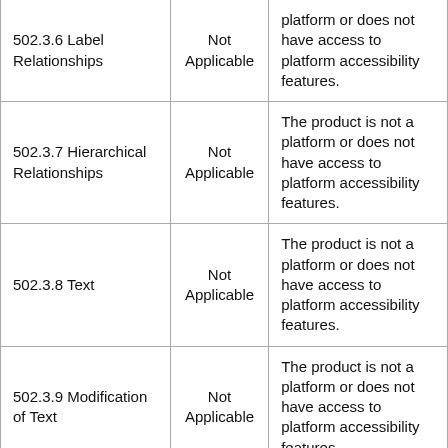| 502.3.6 Label Relationships | Not Applicable | The product is not a platform or does not have access to platform accessibility features. |
| 502.3.7 Hierarchical Relationships | Not Applicable | The product is not a platform or does not have access to platform accessibility features. |
| 502.3.8 Text | Not Applicable | The product is not a platform or does not have access to platform accessibility features. |
| 502.3.9 Modification of Text | Not Applicable | The product is not a platform or does not have access to platform accessibility features. |
| 502.3.10 List of Actions | Not Applicable | The product is not a platform or does not have access to platform accessibility features. |
| 502.3.11 |  | The product is not a platform or does not... |